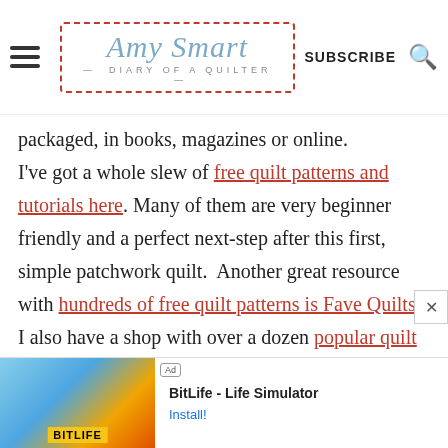Amy Smart — Diary of a Quilter | SUBSCRIBE
packaged, in books, magazines or online. I've got a whole slew of free quilt patterns and tutorials here. Many of them are very beginner friendly and a perfect next-step after this first, simple patchwork quilt. Another great resource with hundreds of free quilt patterns is Fave Quilts. I also have a shop with over a dozen popular quilt patterns here.
[Figure (screenshot): Advertisement banner for BitLife - Life Simulator app with Install button]